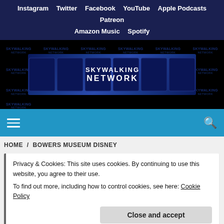Instagram  Twitter  Facebook  YouTube  Apple Podcasts  Patreon  Amazon Music  Spotify
[Figure (screenshot): Skywalking Network banner with tiled watermark logos and central banner showing podcast show artwork]
[Figure (screenshot): Blue toolbar with hamburger menu icon on left and search icon on right]
HOME / BOWERS MUSEUM DISNEY
Privacy & Cookies: This site uses cookies. By continuing to use this website, you agree to their use.
To find out more, including how to control cookies, see here: Cookie Policy
Close and accept
[Figure (photo): Partial blue image visible at bottom of page]